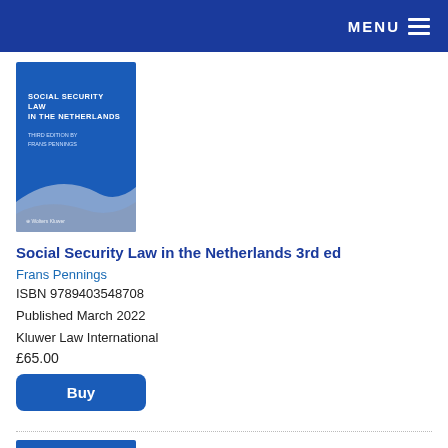MENU
[Figure (illustration): Book cover: Social Security Law in the Netherlands, blue cover with wave graphic, published by Wolters Kluwer]
Social Security Law in the Netherlands 3rd ed
Frans Pennings
ISBN 9789403548708
Published March 2022
Kluwer Law International
£65.00
Buy
[Figure (illustration): Partial view of a second book cover, blue, at the bottom of the page]